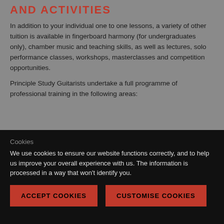AND ACTIVITIES
In addition to your individual one to one lessons, a variety of other tuition is available in fingerboard harmony (for undergraduates only), chamber music and teaching skills, as well as lectures, solo performance classes, workshops, masterclasses and competition opportunities.
Principle Study Guitarists undertake a full programme of professional training in the following areas:
Cookies
We use cookies to ensure our website functions correctly, and to help us improve your overall experience with us. The information is processed in a way that won't identify you.
ACCEPT COOKIES
CUSTOMISE COOKIES